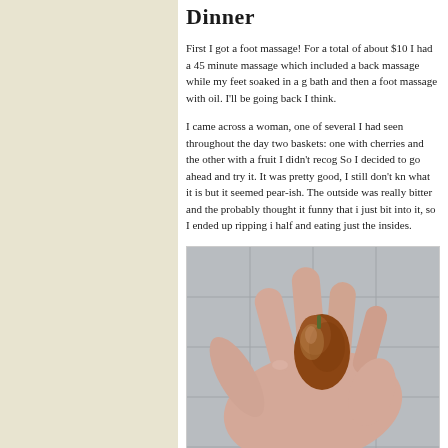Dinner
First I got a foot massage! For a total of about $10 I had a 45 minute massage which included a back massage while my feet soaked in a g bath and then a foot massage with oil. I'll be going back I think.
I came across a woman, one of several I had seen throughout the day two baskets: one with cherries and the other with a fruit I didn't recog So I decided to go ahead and try it. It was pretty good, I still don't kn what it is but it seemed pear-ish. The outside was really bitter and the probably thought it funny that i just bit into it, so I ended up ripping i half and eating just the insides.
[Figure (photo): A hand holding a small pear-shaped fruit with reddish-brown skin and a small green stem, held over a tiled surface.]